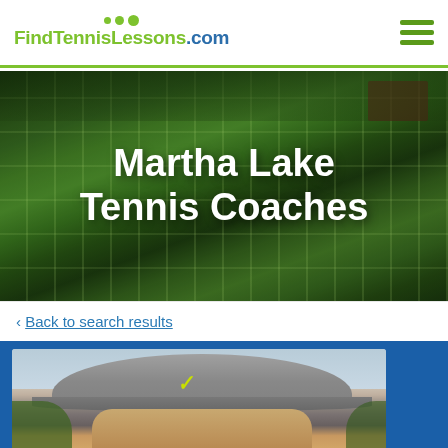FindTennisLessons.com
[Figure (photo): Aerial/overhead photo of tennis courts surrounded by green lawns and trees, serving as a hero banner background]
Martha Lake Tennis Coaches
< Back to search results
[Figure (photo): Portrait photo of a tennis coach wearing a grey Nike cap, cropped to show head and partial torso against a light sky and tree background]